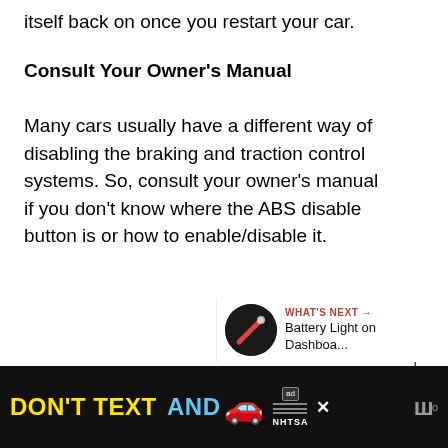itself back on once you restart your car.
Consult Your Owner’s Manual
Many cars usually have a different way of disabling the braking and traction control systems. So, consult your owner’s manual if you don’t know where the ABS disable button is or how to enable/disable it.
[Figure (other): What's Next panel with Battery Light on Dashboard thumbnail and share/like UI buttons]
[Figure (other): Ad banner: DON'T TEXT AND [car emoji] NHTSA advertisement with close button and W logo]